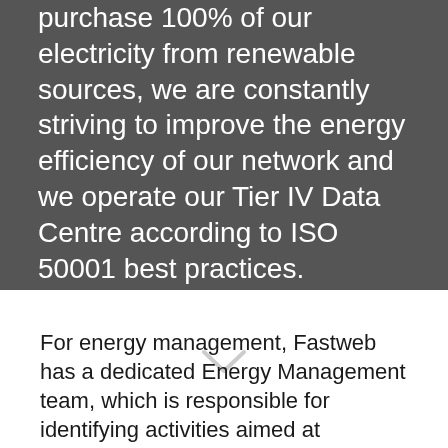purchase 100% of our electricity from renewable sources, we are constantly striving to improve the energy efficiency of our network and we operate our Tier IV Data Centre according to ISO 50001 best practices.
FIND OUT MORE
[Figure (other): Chevron/arrow pointing downward]
For energy management, Fastweb has a dedicated Energy Management team, which is responsible for identifying activities aimed at improving and achieving the strategic